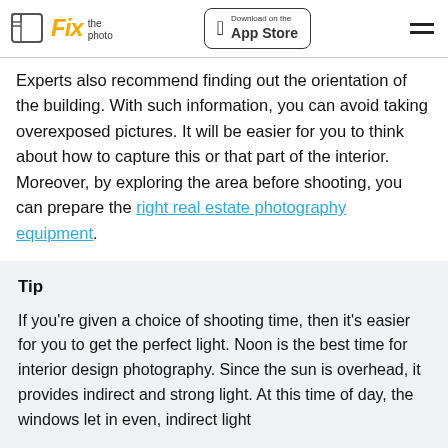Fix the photo | Download on the App Store
Experts also recommend finding out the orientation of the building. With such information, you can avoid taking overexposed pictures. It will be easier for you to think about how to capture this or that part of the interior. Moreover, by exploring the area before shooting, you can prepare the right real estate photography equipment.
Tip
If you're given a choice of shooting time, then it's easier for you to get the perfect light. Noon is the best time for interior design photography. Since the sun is overhead, it provides indirect and strong light. At this time of day, the windows let in even, indirect light